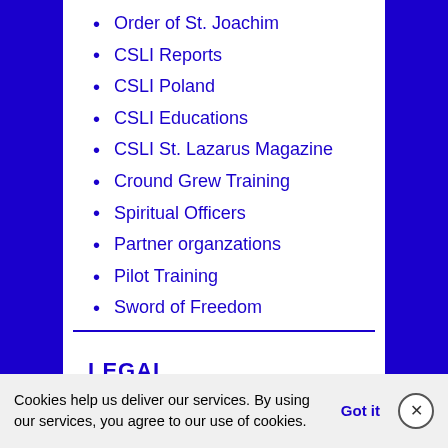Order of St. Joachim
CSLI Reports
CSLI Poland
CSLI Educations
CSLI St. Lazarus Magazine
Cround Grew Training
Spiritual Officers
Partner organzations
Pilot Training
Sword of Freedom
LEGAL
Cookies help us deliver our services. By using our services, you agree to our use of cookies. Got it